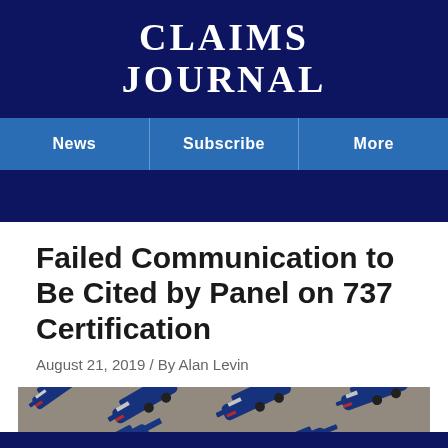CLAIMS
JOURNAL
News | Subscribe | More
Failed Communication to Be Cited by Panel on 737 Certification
August 21, 2019 / By Alan Levin
[Figure (photo): Aerial view of multiple Southwest Airlines Boeing 737 MAX aircraft parked on tarmac, viewed from above, showing blue and red livery on multiple planes.]